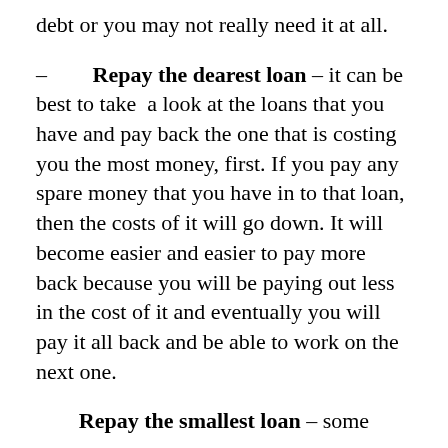debt or you may not really need it at all.
– Repay the dearest loan – it can be best to take a look at the loans that you have and pay back the one that is costing you the most money, first. If you pay any spare money that you have in to that loan, then the costs of it will go down. It will become easier and easier to pay more back because you will be paying out less in the cost of it and eventually you will pay it all back and be able to work on the next one.
Repay the smallest loan – some